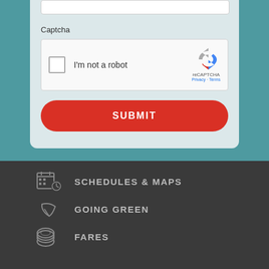[Figure (screenshot): reCAPTCHA widget with checkbox labeled I'm not a robot and Google reCAPTCHA logo with Privacy and Terms links]
Captcha
I'm not a robot
reCAPTCHA
Privacy · Terms
SUBMIT
SCHEDULES & MAPS
GOING GREEN
FARES